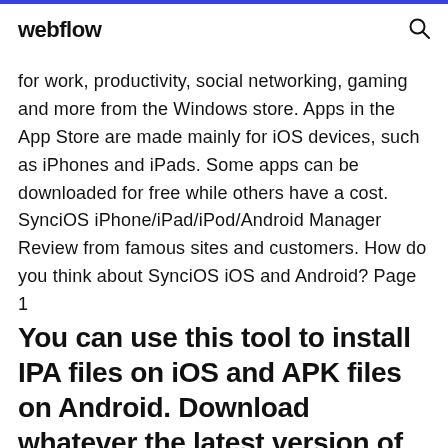webflow
for work, productivity, social networking, gaming and more from the Windows store. Apps in the App Store are made mainly for iOS devices, such as iPhones and iPads. Some apps can be downloaded for free while others have a cost. SynciOS iPhone/iPad/iPod/Android Manager Review from famous sites and customers. How do you think about SynciOS iOS and Android? Page 1
You can use this tool to install IPA files on iOS and APK files on Android. Download whatever the latest version of Cydia Impactor